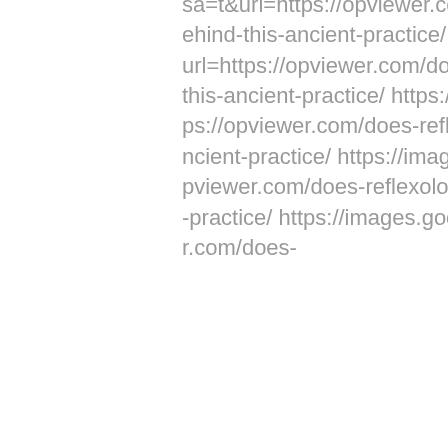sa=t&url=https://opviewer.com/does-reflexology-work-the-science-behind-this-ancient-practice/ https://images.google.com.gt/url?sa=t&url=https://opviewer.com/does-reflexology-work-the-science-behind-this-ancient-practice/ https://images.google.com.gi/url?sa=t&url=https://opviewer.com/does-reflexology-work-the-science-behind-this-ancient-practice/ https://images.google.com.gh/url?sa=t&url=https://opviewer.com/does-reflexology-work-the-science-behind-this-ancient-practice/ https://images.google.com.fj/url?sa=t&url=https://opviewer.com/does-